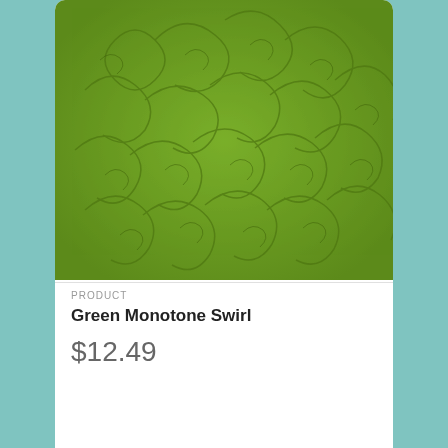[Figure (photo): Green fabric with monotone swirl pattern on olive green background]
PRODUCT
Green Monotone Swirl
$12.49
[Figure (photo): Rust/brown fabric with black crow birds and floral pattern]